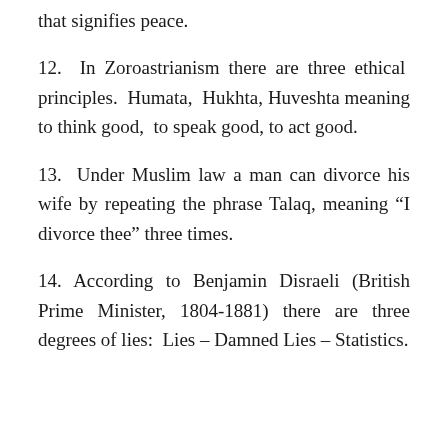that signifies peace.
12. In Zoroastrianism there are three ethical principles. Humata, Hukhta, Huveshta meaning to think good, to speak good, to act good.
13. Under Muslim law a man can divorce his wife by repeating the phrase Talaq, meaning “I divorce thee” three times.
14. According to Benjamin Disraeli (British Prime Minister, 1804-1881) there are three degrees of lies: Lies – Damned Lies – Statistics.